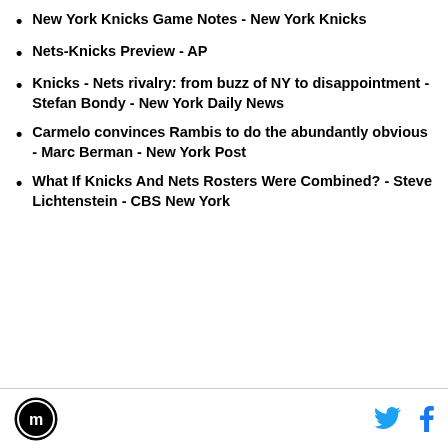New York Knicks Game Notes - New York Knicks
Nets-Knicks Preview - AP
Knicks - Nets rivalry: from buzz of NY to disappointment - Stefan Bondy - New York Daily News
Carmelo convinces Rambis to do the abundantly obvious - Marc Berman - New York Post
What If Knicks And Nets Rosters Were Combined? - Steve Lichtenstein - CBS New York
Logo | Twitter | Facebook